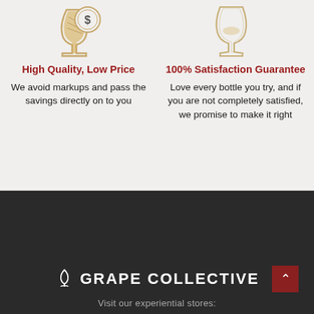[Figure (illustration): Wine glass with dollar sign coin illustration — High Quality Low Price icon]
[Figure (illustration): Wine glass illustration — 100% Satisfaction Guarantee icon]
High Quality, Low Price
We avoid markups and pass the savings directly on to you
100% Satisfaction Guarantee
Love every bottle you try, and if you are not completely satisfied, we promise to make it right
[Figure (logo): Grape Collective logo — wine glass icon with text GRAPE COLLECTIVE in white on dark background]
Visit our experiential stores: